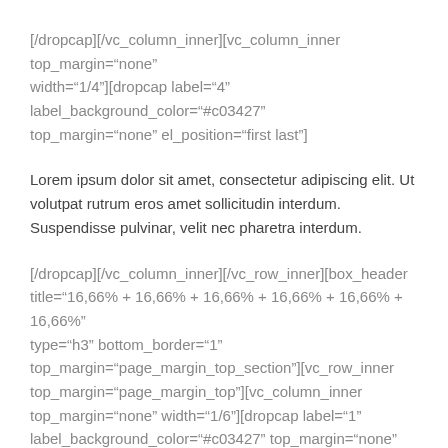[/dropcap][/vc_column_inner][vc_column_inner top_margin="none" width="1/4"][dropcap label="4" label_background_color="#c03427" top_margin="none" el_position="first last"]
Lorem ipsum dolor sit amet, consectetur adipiscing elit. Ut volutpat rutrum eros amet sollicitudin interdum. Suspendisse pulvinar, velit nec pharetra interdum.
[/dropcap][/vc_column_inner][/vc_row_inner][box_header title="16,66% + 16,66% + 16,66% + 16,66% + 16,66% + 16,66%" type="h3" bottom_border="1" top_margin="page_margin_top_section"][vc_row_inner top_margin="page_margin_top"][vc_column_inner top_margin="none" width="1/6"][dropcap label="1" label_background_color="#c03427" top_margin="none" el_position="first last"]